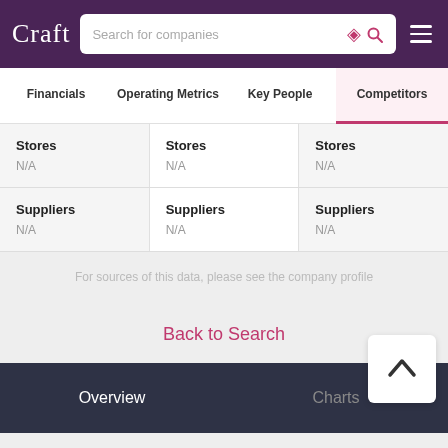Craft — Search for companies
Financials | Operating Metrics | Key People | Competitors
| Stores | Stores | Stores |
| --- | --- | --- |
| N/A | N/A | N/A |
| Suppliers | Suppliers | Suppliers |
| --- | --- | --- |
| N/A | N/A | N/A |
For sources of this data, please see the company profile
Back to Search
Overview | Charts